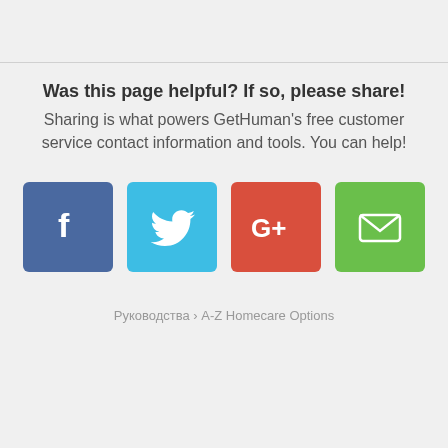Was this page helpful? If so, please share!
Sharing is what powers GetHuman's free customer service contact information and tools. You can help!
[Figure (other): Four social sharing buttons: Facebook (blue), Twitter (cyan), Google+ (red), Email (green)]
Руководства › A-Z Homecare Options